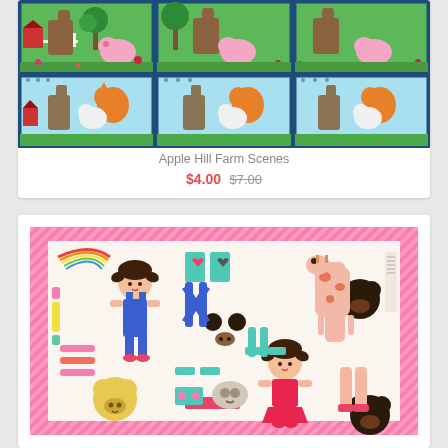[Figure (photo): Apple Hill Farm Scenes fabric panel showing a 2x3 grid of colorful farm animal illustrations — top row has horses and pigs on green grass background, bottom row has donkeys and foxes on light blue background, all framed with navy blue dotted borders]
Apple Hill Farm Scenes
$4.00 $7.00
[Figure (photo): Fabric panel showing paper doll cut-out pieces including two girl dolls with dark hair, various body parts, animal heads (bears, giraffe), clothing pieces and accessories on a cream background with pink striped border]